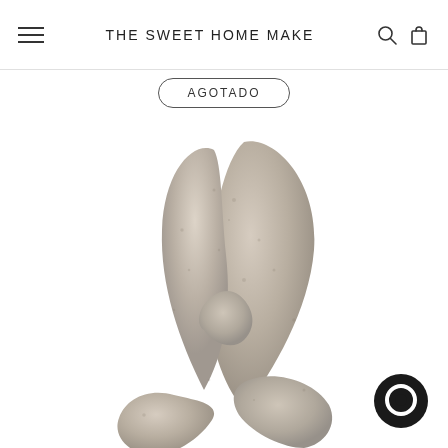THE SWEET HOME MAKE
AGOTADO
[Figure (photo): Abstract stone or concrete sculpture with intertwined curved forms resembling leaves or a knot, in a beige/gray tone, on a white background.]